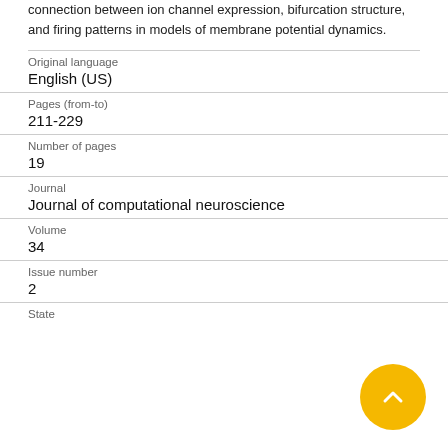connection between ion channel expression, bifurcation structure, and firing patterns in models of membrane potential dynamics.
| Original language | English (US) |
| Pages (from-to) | 211-229 |
| Number of pages | 19 |
| Journal | Journal of computational neuroscience |
| Volume | 34 |
| Issue number | 2 |
| State |  |